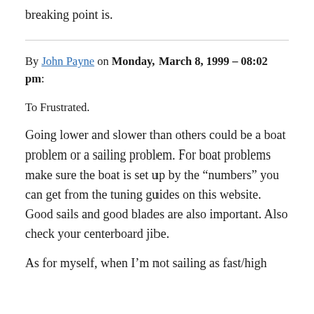breaking point is.
By John Payne on Monday, March 8, 1999 – 08:02 pm:
To Frustrated.
Going lower and slower than others could be a boat problem or a sailing problem. For boat problems make sure the boat is set up by the “numbers” you can get from the tuning guides on this website. Good sails and good blades are also important. Also check your centerboard jibe.
As for myself, when I’m not sailing as fast/high